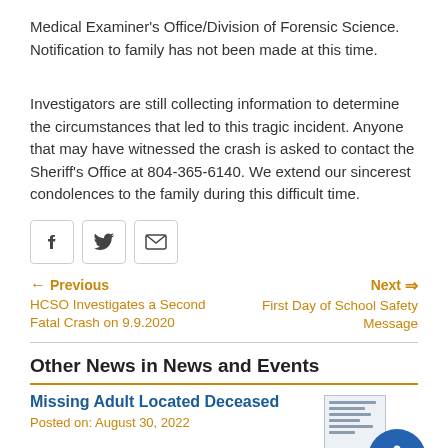Medical Examiner's Office/Division of Forensic Science. Notification to family has not been made at this time.
Investigators are still collecting information to determine the circumstances that led to this tragic incident. Anyone that may have witnessed the crash is asked to contact the Sheriff's Office at 804-365-6140. We extend our sincerest condolences to the family during this difficult time.
[Figure (infographic): Social share icons: Facebook, Twitter, Email]
Previous: HCSO Investigates a Second Fatal Crash on 9.9.2020 | Next: First Day of School Safety Message
Other News in News and Events
Missing Adult Located Deceased
Posted on: August 30, 2022